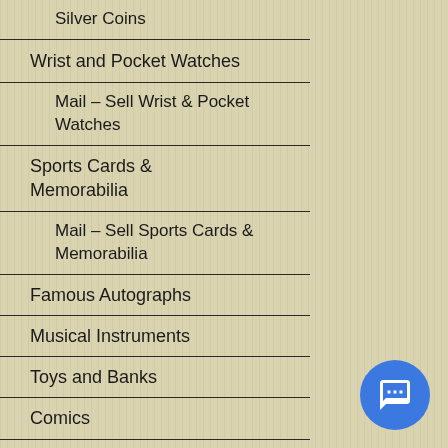Silver Coins
Wrist and Pocket Watches
Mail – Sell Wrist & Pocket Watches
Sports Cards & Memorabilia
Mail – Sell Sports Cards & Memorabilia
Famous Autographs
Musical Instruments
Toys and Banks
Comics
Costume Jewelry, Figurines, Collectibles
Gold/Silver: Mail in Services